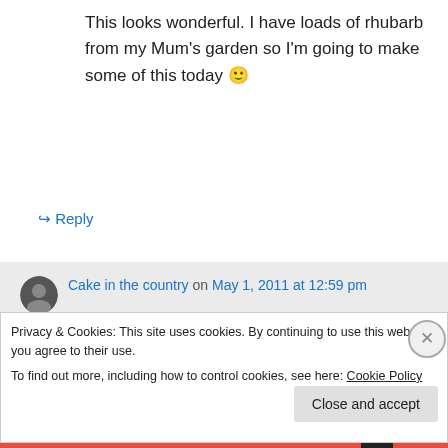This looks wonderful. I have loads of rhubarb from my Mum's garden so I'm going to make some of this today 🙂
↪ Reply
Cake in the country on May 1, 2011 at 12:59 pm
Fantastic, let me know what you think.
Might need more sugar depending on your
Privacy & Cookies: This site uses cookies. By continuing to use this website, you agree to their use.
To find out more, including how to control cookies, see here: Cookie Policy
Close and accept